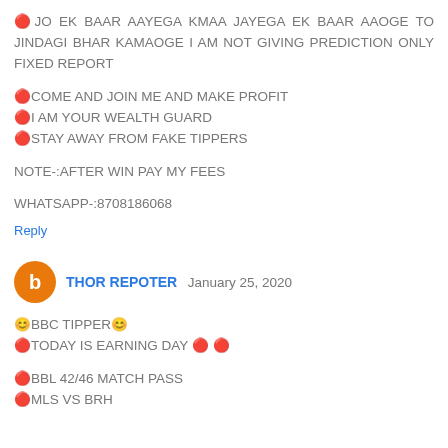🔴JO EK BAAR AAYEGA KMAA JAYEGA EK BAAR AAOGE TO JINDAGI BHAR KAMAOGE I AM NOT GIVING PREDICTION ONLY FIXED REPORT
🔴COME AND JOIN ME AND MAKE PROFIT
🔴I AM YOUR WEALTH GUARD
🔴STAY AWAY FROM FAKE TIPPERS
NOTE-:AFTER WIN PAY MY FEES
WHATSAPP-:8708186068
Reply
THOR REPOTER  January 25, 2020
😊BBC TIPPER😊
🔴TODAY IS EARNING DAY 🔴 🔴
🔴BBL 42/46 MATCH PASS
🔴MLS VS BRH